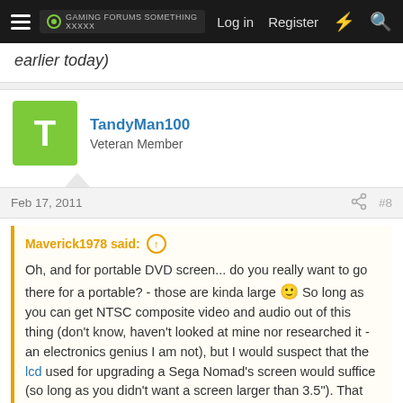Log in  Register
earlier today)
TandyMan100
Veteran Member
Feb 17, 2011  #8
Maverick1978 said:
Oh, and for portable DVD screen... do you really want to go there for a portable? - those are kinda large 🙂 So long as you can get NTSC composite video and audio out of this thing (don't know, haven't looked at mine nor researched it - an electronics genius I am not), but I would suspect that the lcd used for upgrading a Sega Nomad's screen would suffice (so long as you didn't want a screen larger than 3.5"). That board has clear solder pads that will provide
Click to expand...
Since handheld 2600s have been done to death, I was going to make it a 2600 laptop, with a 6 or 7 inch screen...